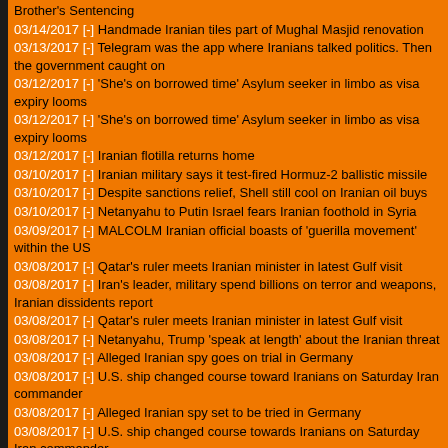Brother's Sentencing
03/14/2017 [-] Handmade Iranian tiles part of Mughal Masjid renovation
03/13/2017 [-] Telegram was the app where Iranians talked politics. Then the government caught on
03/12/2017 [-] 'She's on borrowed time' Asylum seeker in limbo as visa expiry looms
03/12/2017 [-] 'She's on borrowed time' Asylum seeker in limbo as visa expiry looms
03/12/2017 [-] Iranian flotilla returns home
03/10/2017 [-] Iranian military says it test-fired Hormuz-2 ballistic missile
03/10/2017 [-] Despite sanctions relief, Shell still cool on Iranian oil buys
03/10/2017 [-] Netanyahu to Putin Israel fears Iranian foothold in Syria
03/09/2017 [-] MALCOLM Iranian official boasts of 'guerilla movement' within the US
03/08/2017 [-] Qatar's ruler meets Iranian minister in latest Gulf visit
03/08/2017 [-] Iran's leader, military spend billions on terror and weapons, Iranian dissidents report
03/08/2017 [-] Qatar's ruler meets Iranian minister in latest Gulf visit
03/08/2017 [-] Netanyahu, Trump 'speak at length' about the Iranian threat
03/08/2017 [-] Alleged Iranian spy goes on trial in Germany
03/08/2017 [-] U.S. ship changed course toward Iranians on Saturday Iran commander
03/08/2017 [-] Alleged Iranian spy set to be tried in Germany
03/08/2017 [-] U.S. ship changed course towards Iranians on Saturday Iran commander